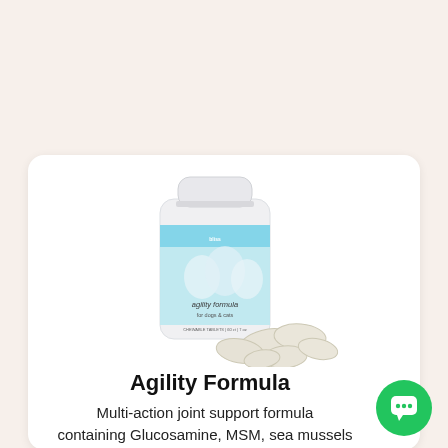[Figure (photo): White pill bottle with light blue label showing 'agility formula for dogs & cats' with dog illustrations, accompanied by scattered white tablets/chews in the foreground]
Agility Formula
Multi-action joint support formula containing Glucosamine, MSM, sea mussels